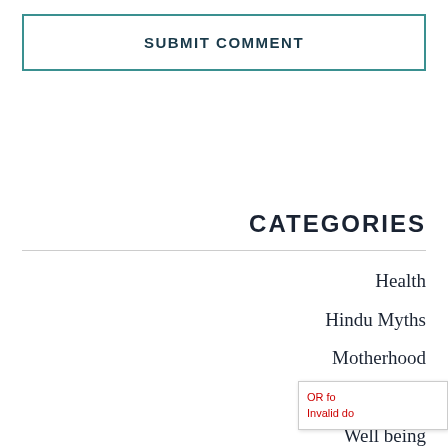SUBMIT COMMENT
CATEGORIES
Health
Hindu Myths
Motherhood
Spirituality
Well being
OR fo
Invalid do